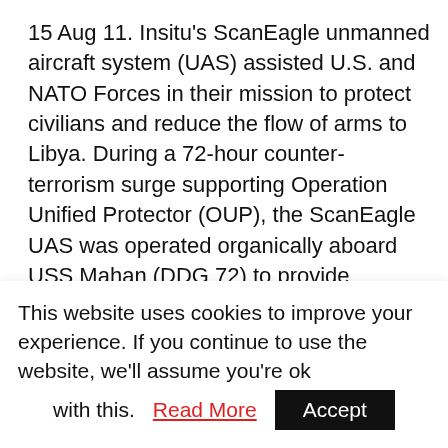15 Aug 11. Insitu's ScanEagle unmanned aircraft system (UAS) assisted U.S. and NATO Forces in their mission to protect civilians and reduce the flow of arms to Libya. During a 72-hour counter-terrorism surge supporting Operation Unified Protector (OUP), the ScanEagle UAS was operated organically aboard USS Mahan (DDG 72) to provide intelligence, surveillance and reconnaissance (ISR) support. In strong winds, ScanEagle performed cooperatively with a host of U.S. and NATO participating forces. About a month earlier, a highly experienced team from Insitu operating aboard USS Mahan analyzed how ScanEagle was being used and how it might
This website uses cookies to improve your experience. If you continue to use the website, we'll assume you're ok with this. Read More  Accept